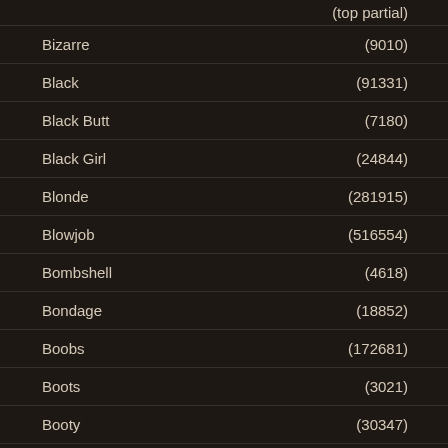(top partial)
Bizarre (9010)
Black (91331)
Black Butt (7180)
Black Girl (24844)
Blonde (281915)
Blowjob (516554)
Bombshell (4618)
Bondage (18852)
Boobs (172681)
Boots (3021)
Booty (30347)
Boos (4894) [partial]